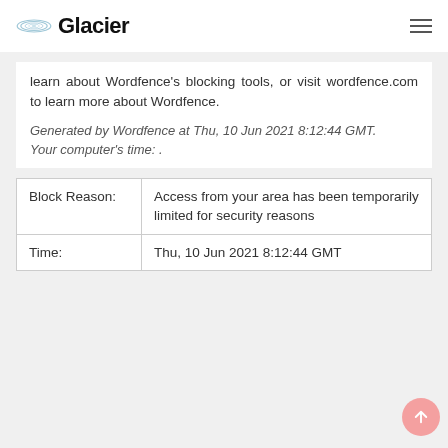Glacier
learn about Wordfence's blocking tools, or visit wordfence.com to learn more about Wordfence.
Generated by Wordfence at Thu, 10 Jun 2021 8:12:44 GMT.
Your computer's time: .
| Block Reason: | Access from your area has been temporarily limited for security reasons |
| Time: | Thu, 10 Jun 2021 8:12:44 GMT |